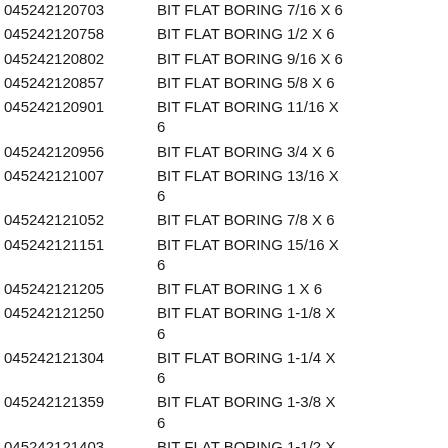| 045242120703 | BIT FLAT BORING 7/16 X 6 | 5 |
| 045242120758 | BIT FLAT BORING 1/2 X 6 | 10 |
| 045242120802 | BIT FLAT BORING 9/16 X 6 | 19 |
| 045242120857 | BIT FLAT BORING 5/8 X 6 | 6 |
| 045242120901 | BIT FLAT BORING 11/16 X 6 | 2 |
| 045242120956 | BIT FLAT BORING 3/4 X 6 | 5 |
| 045242121007 | BIT FLAT BORING 13/16 X 6 | 15 |
| 045242121052 | BIT FLAT BORING 7/8 X 6 | 13 |
| 045242121151 | BIT FLAT BORING 15/16 X 6 | 3 |
| 045242121205 | BIT FLAT BORING 1 X 6 | 9 |
| 045242121250 | BIT FLAT BORING 1-1/8 X 6 | 10 |
| 045242121304 | BIT FLAT BORING 1-1/4 X 6 | 12 |
| 045242121359 | BIT FLAT BORING 1-3/8 X 6 | 6 |
| 045242121403 | BIT FLAT BORING 1-1/2 X 6 | 15 |